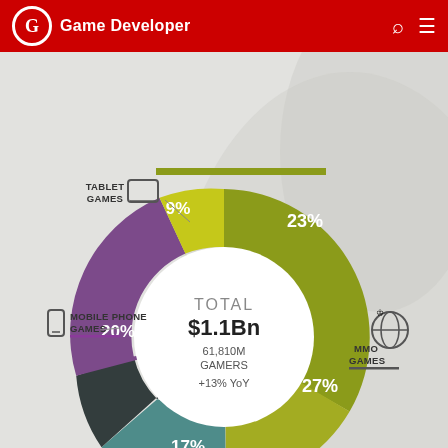Game Developer
[Figure (donut-chart): TOTAL $1.1Bn — 61,810M GAMERS +13% YoY]
Source: Newzoo
This site uses cookies to provide you with the best user experience possible. By using Game Developer, you accept our use of cookies.